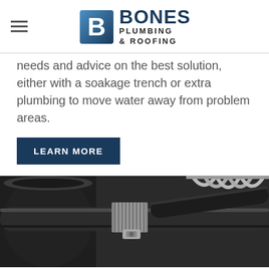Bones Plumbing & Roofing
needs and advice on the best solution, either with a soakage trench or extra plumbing to move water away from problem areas.
LEARN MORE
[Figure (photo): Close-up photo of plumbing pipes with a hose clamp/metal clamp fitting on a dark pipe, with a braided metal hose visible in the upper right.]